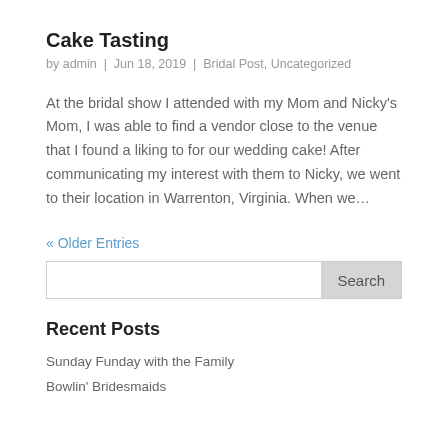Cake Tasting
by admin | Jun 18, 2019 | Bridal Post, Uncategorized
At the bridal show I attended with my Mom and Nicky's Mom, I was able to find a vendor close to the venue that I found a liking to for our wedding cake! After communicating my interest with them to Nicky, we went to their location in Warrenton, Virginia. When we…
« Older Entries
Recent Posts
Sunday Funday with the Family
Bowlin' Bridesmaids